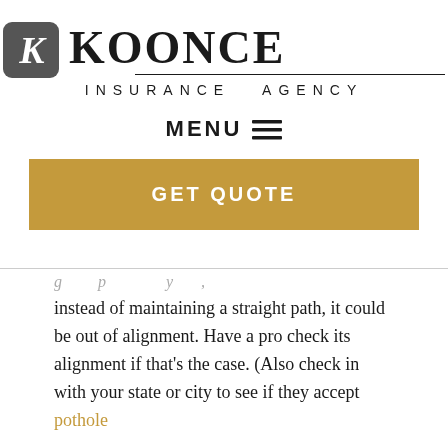[Figure (logo): Koonce Insurance Agency logo with stylized K icon in gray rounded square and bold serif KOONCE text, with INSURANCE AGENCY in spaced caps below]
MENU ☰
GET QUOTE
instead of maintaining a straight path, it could be out of alignment. Have a pro check its alignment if that's the case. (Also check in with your state or city to see if they accept pothole